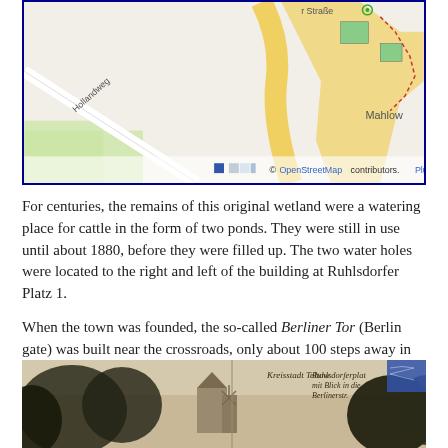[Figure (map): OpenStreetMap showing street layout with Hollandweg on the left side and Mahlow area on the upper right, with attribution to OpenStreetMap contributors and a Plugin link]
For centuries, the remains of this original wetland were a watering place for cattle in the form of two ponds. They were still in use until about 1880, before they were filled up. The two water holes were located to the right and left of the building at Ruhlsdorfer Platz 1.
When the town was founded, the so-called Berliner Tor (Berlin gate) was built near the crossroads, only about 100 steps away in today's Berliner Straße. There, a bridge led into the town.
[Figure (photo): Old black and white postcard photograph showing Kreisstadt Teltow - Ruhlsdorferplatz mit Blick in die Berlinerstr., with trees and a building visible]